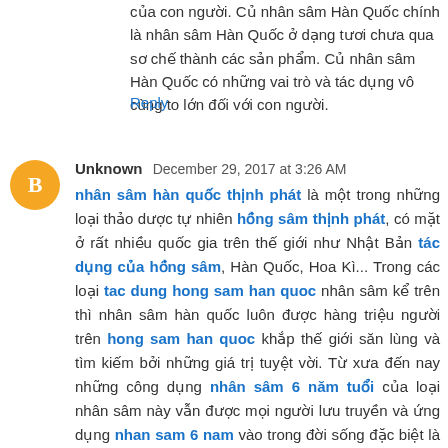của con người. Củ nhân sâm Hàn Quốc chính là nhân sâm Hàn Quốc ở dạng tươi chưa qua sơ chế thành các sản phẩm. Củ nhân sâm Hàn Quốc có những vai trò và tác dụng vô cùng to lớn đối với con người.
Reply
Unknown  December 29, 2017 at 3:26 AM
nhân sâm hàn quốc thịnh phát là một trong những loại thảo dược tự nhiên hồng sâm thịnh phát, có mặt ở rất nhiều quốc gia trên thế giới như Nhật Bản tác dụng của hồng sâm, Hàn Quốc, Hoa Kì... Trong các loại tac dung hong sam han quoc nhân sâm kể trên thì nhân sâm hàn quốc luôn được hàng triệu người trên hong sam han quoc khắp thế giới săn lùng và tìm kiếm bởi những giá trị tuyệt vời. Từ xưa đến nay những công dụng nhân sâm 6 năm tuổi của loại nhân sâm này vẫn được mọi người lưu truyền và ứng dụng nhan sam 6 nam vào trong đời sống đặc biệt là chăm sóc sức khỏe của con người. Củ nhân sâm Hàn Quốc chính là nhân sâm Hàn Quốc ở dạng tươi nhân sâm 6 năm tuổi chưa qua sơ chế thành các sản phẩm. Củ nhân sâm Hàn Quốc có những vai trò và tác